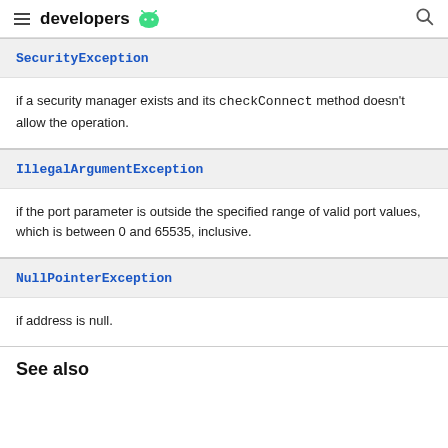developers
SecurityException
if a security manager exists and its checkConnect method doesn't allow the operation.
IllegalArgumentException
if the port parameter is outside the specified range of valid port values, which is between 0 and 65535, inclusive.
NullPointerException
if address is null.
See also